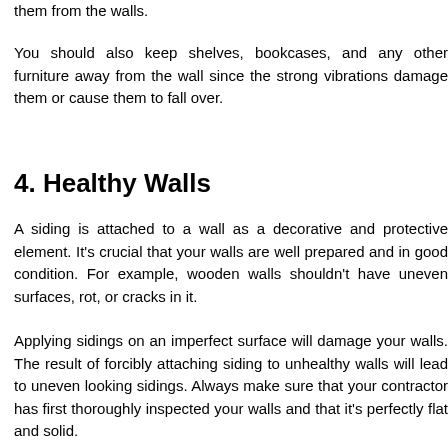them from the walls.
You should also keep shelves, bookcases, and any other furniture away from the wall since the strong vibrations damage them or cause them to fall over.
4. Healthy Walls
A siding is attached to a wall as a decorative and protective element. It's crucial that your walls are well prepared and in good condition. For example, wooden walls shouldn't have uneven surfaces, rot, or cracks in it.
Applying sidings on an imperfect surface will damage your walls. The result of forcibly attaching siding to unhealthy walls will lead to uneven looking sidings. Always make sure that your contractor has first thoroughly inspected your walls and that it's perfectly flat and solid.